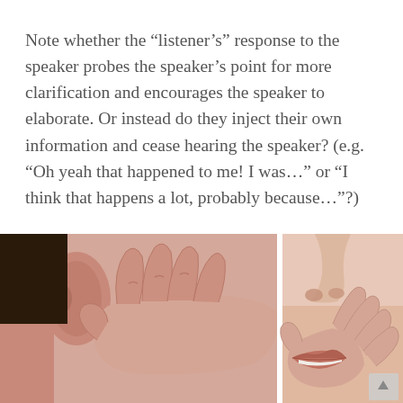Note whether the “listener’s” response to the speaker probes the speaker’s point for more clarification and encourages the speaker to elaborate. Or instead do they inject their own information and cease hearing the speaker? (e.g. “Oh yeah that happened to me! I was…” or “I think that happens a lot, probably because…”?)
On average my MBA classes report that these disconnects happen in 85-90% percent of conversations they observe!
[Figure (photo): Photo showing a person’s ear with a hand cupped behind it (listener) on the left, and a person’s mouth with fingers held up to lips (speaker whispering) on the right.]